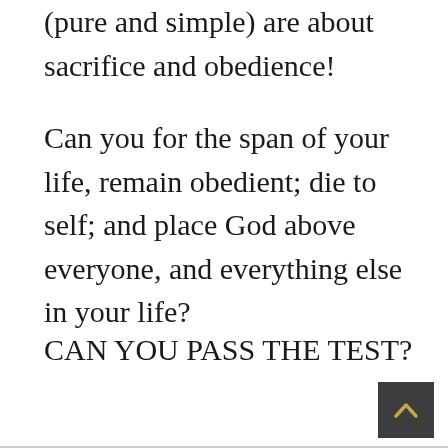(pure and simple) are about sacrifice and obedience!
Can you for the span of your life, remain obedient; die to self; and place God above everyone, and everything else in your life?
CAN YOU PASS THE TEST?